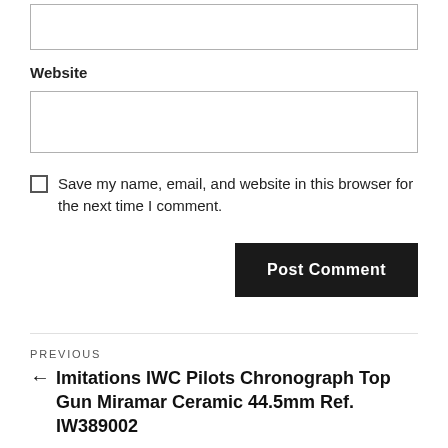[Figure (screenshot): A text input box (empty) at the top of the page, representing a comment form field.]
Website
[Figure (screenshot): A text input box for Website field (empty).]
Save my name, email, and website in this browser for the next time I comment.
Post Comment
PREVIOUS
← Imitations IWC Pilots Chronograph Top Gun Miramar Ceramic 44.5mm Ref. IW389002